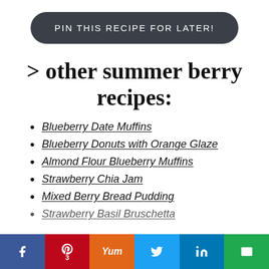PIN THIS RECIPE FOR LATER!
> other summer berry recipes:
Blueberry Date Muffins
Blueberry Donuts with Orange Glaze
Almond Flour Blueberry Muffins
Strawberry Chia Jam
Mixed Berry Bread Pudding
Strawberry Basil Bruschetta (partial)
f | P 3 | Yum | Twitter | in | Email